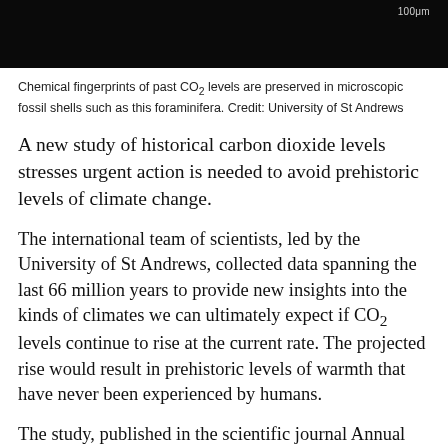[Figure (photo): Microscopic image of a foraminifera fossil shell on a black background, with a 100μm scale bar in the upper right.]
Chemical fingerprints of past CO₂ levels are preserved in microscopic fossil shells such as this foraminifera. Credit: University of St Andrews
A new study of historical carbon dioxide levels stresses urgent action is needed to avoid prehistoric levels of climate change.
The international team of scientists, led by the University of St Andrews, collected data spanning the last 66 million years to provide new insights into the kinds of climates we can ultimately expect if CO₂ levels continue to rise at the current rate. The projected rise would result in prehistoric levels of warmth that have never been experienced by humans.
The study, published in the scientific journal Annual Review of Earth and Planetary Scie...